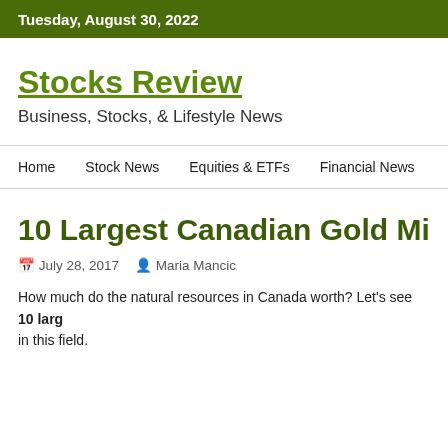Tuesday, August 30, 2022
Stocks Review
Business, Stocks, & Lifestyle News
Home   Stock News   Equities & ETFs   Financial News
10 Largest Canadian Gold Mining C
July 28, 2017   Maria Mancic
How much do the natural resources in Canada worth? Let's see 10 larg in this field.